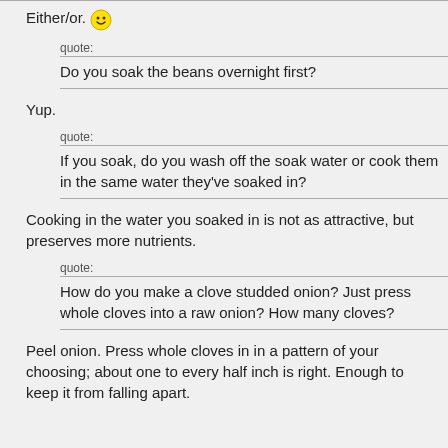Either/or. 🙂
quote: Do you soak the beans overnight first?
Yup.
quote: If you soak, do you wash off the soak water or cook them in the same water they've soaked in?
Cooking in the water you soaked in is not as attractive, but preserves more nutrients.
quote: How do you make a clove studded onion? Just press whole cloves into a raw onion? How many cloves?
Peel onion. Press whole cloves in in a pattern of your choosing; about one to every half inch is right. Enough to keep it from falling apart.